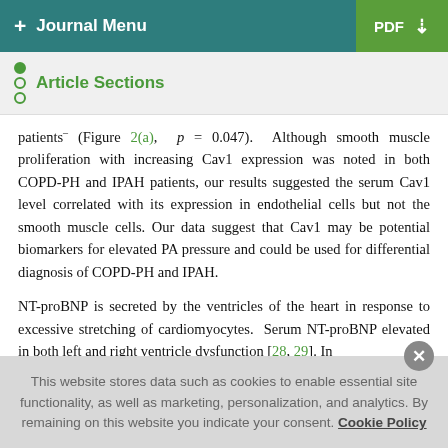+ Journal Menu | PDF ↓
Article Sections
patients (Figure 2(a), p = 0.047). Although smooth muscle proliferation with increasing Cav1 expression was noted in both COPD-PH and IPAH patients, our results suggested the serum Cav1 level correlated with its expression in endothelial cells but not the smooth muscle cells. Our data suggest that Cav1 may be potential biomarkers for elevated PA pressure and could be used for differential diagnosis of COPD-PH and IPAH.
NT-proBNP is secreted by the ventricles of the heart in response to excessive stretching of cardiomyocytes. Serum NT-proBNP elevated in both left and right ventricle dysfunction [28, 29]. In
This website stores data such as cookies to enable essential site functionality, as well as marketing, personalization, and analytics. By remaining on this website you indicate your consent. Cookie Policy